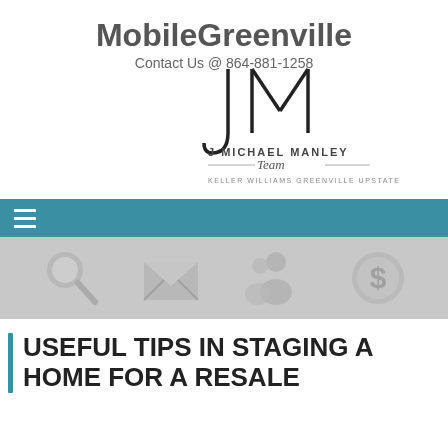MobileGreenville
Contact Us @ 864-881-1258
[Figure (logo): J Michael Manley Team - Keller Williams Greenville Upstate logo with stylized JM monogram]
[Figure (infographic): Teal navigation bar with hamburger menu icon]
[Figure (infographic): Gray icon bar with search, envelope, people, and dollar sign icons]
USEFUL TIPS IN STAGING A HOME FOR A RESALE